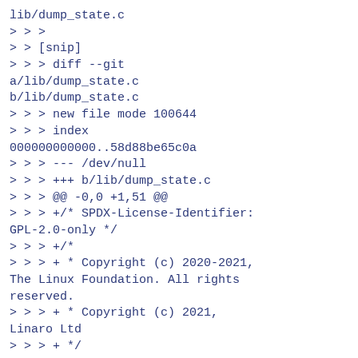lib/dump_state.c
> > >
> > [snip]
> > > diff --git a/lib/dump_state.c b/lib/dump_state.c
> > > new file mode 100644
> > > index 000000000000..58d88be65c0a
> > > --- /dev/null
> > > +++ b/lib/dump_state.c
> > > @@ -0,0 +1,51 @@
> > > +/* SPDX-License-Identifier: GPL-2.0-only */
> > > +/*
> > > + * Copyright (c) 2020-2021, The Linux Foundation. All rights reserved.
> > > + * Copyright (c) 2021, Linaro Ltd
> > > + */
> > > +
> > > +#include <linux/dump_state.h>
> > > +#include <linux/slab.h>
> > > +
> > > +void dump_state_free_blocks(struct dump_state *state)
> > > +{